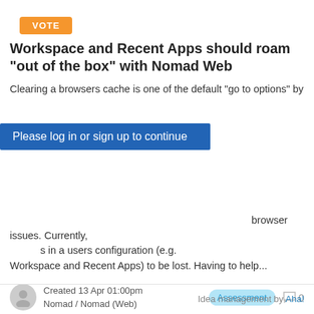[Figure (other): Orange VOTE button]
Workspace and Recent Apps should roam "out of the box" with Nomad Web
Clearing a browsers cache is one of the default "go to options" by browser issues. Currently, in a users configuration (e.g. Workspace and Recent Apps) to be lost. Having to help...
Please log in or sign up to continue
Created 13 Apr 01:00pm
Nomad / Nomad (Web)
Assessment   0
« First
‹ Prev
1
2
3
4
5
6
...
Next ›
Last »
Idea management by Aha!